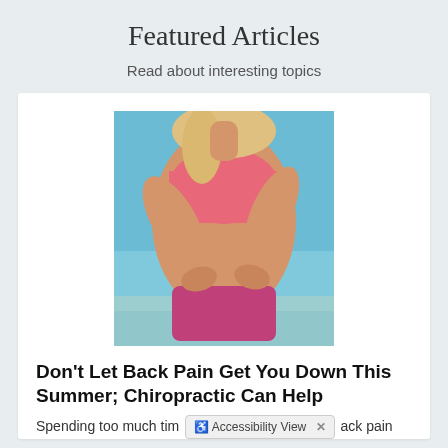Featured Articles
Read about interesting topics
[Figure (photo): Woman in pink sports bra and shorts reaching behind her back to touch her lower back, standing outdoors near a beach with blue sky background.]
Don't Let Back Pain Get You Down This Summer; Chiropractic Can Help
Spending too much tim... ack pain